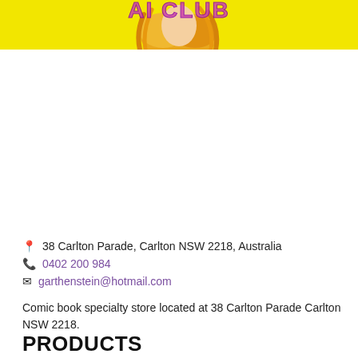[Figure (illustration): Comic book store logo on yellow background with colorful stylized text and illustrated character with orange/blonde hair]
📍 38 Carlton Parade, Carlton NSW 2218, Australia
📞 0402 200 984
✉ garthenstein@hotmail.com
Comic book specialty store located at 38 Carlton Parade Carlton NSW 2218.
PRODUCTS